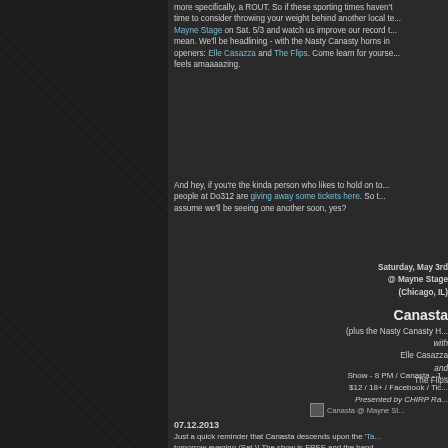more specifically, a ROUT. So if these sporting times haven't time to consider throwing your weight behind another local te... Mayne Stage on Sat. 5/3 and watch us improve our record t... mean. We'll be headlining - with the Nasty Canasty horns in ... openers: Elle Casazza and The Flips. Come learn for yourse... feels amaaaazing.
And hey, if you're the kinda person who likes to hold on to... people at Do312 are giving away some tickets here. So t... assume we'll be seeing one another soon, yes?
Saturday, May 3rd
@ Mayne Stage
(Chicago, IL)

Canasta
(plus the Nasty Canasty H...
with
Elle Casazza
and
The Flips
Show - 8 PM / Canasta - 1...
$12 / 18+ / Facebook / Tic...
Presented by CHIRP Ra...
[Figure (photo): Canasta @ Mayne St... thumbnail image]
07.12.2013
Just a quick reminder that Canasta descends upon the 'Ta... tomorrow evening (Sat.)! The show is FREE and the band -... Horns in tow - plays the Bud Light Stage (at Columbus and... 5:30pm. Immediately thereafter, local folks made good...